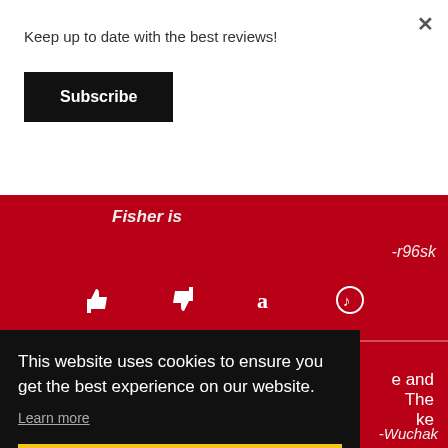Keep up to date with the best reviews!
Subscribe
Fisher is
-r96sk
Star Wars: Episode VI - Return of
This website uses cookies to ensure you get the best experience on our website.
Learn more
Got it!
-Wuchak